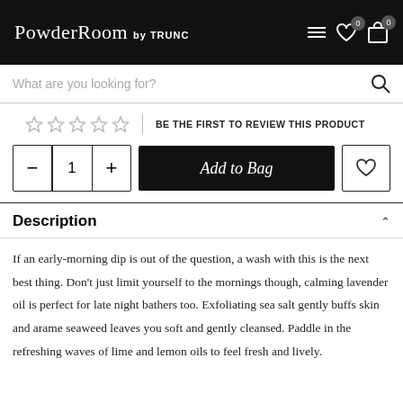PowderRoom by TRUNC
What are you looking for?
BE THE FIRST TO REVIEW THIS PRODUCT
Add to Bag
Description
If an early-morning dip is out of the question, a wash with this is the next best thing. Don't just limit yourself to the mornings though, calming lavender oil is perfect for late night bathers too. Exfoliating sea salt gently buffs skin and arame seaweed leaves you soft and gently cleansed. Paddle in the refreshing waves of lime and lemon oils to feel fresh and lively.